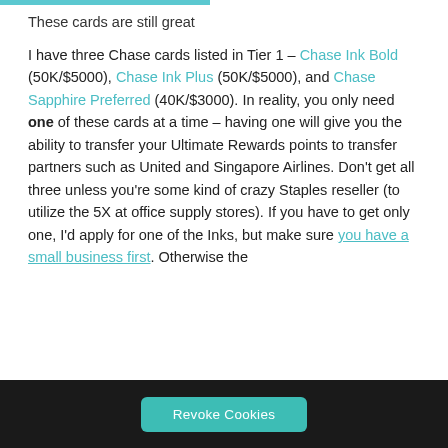These cards are still great
I have three Chase cards listed in Tier 1 – Chase Ink Bold (50K/$5000), Chase Ink Plus (50K/$5000), and Chase Sapphire Preferred (40K/$3000). In reality, you only need one of these cards at a time – having one will give you the ability to transfer your Ultimate Rewards points to transfer partners such as United and Singapore Airlines. Don't get all three unless you're some kind of crazy Staples reseller (to utilize the 5X at office supply stores). If you have to get only one, I'd apply for one of the Inks, but make sure you have a small business first. Otherwise the
Revoke Cookies